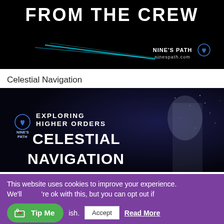[Figure (illustration): Dark banner with text 'FROM THE CREW' in futuristic white font, a glowing cyan diagonal light streak, and Nine's Path logo/URL in bottom right corner on black background.]
Celestial Navigation
[Figure (illustration): Dark space-themed banner with a woman in white outfit with white hair. Text reads: EXPLORING HIGHER ORDERS CELESTIAL NAVIGATION, with Nine's Path logo on left.]
This website uses cookies to improve your experience. We'll assume you're ok with this, but you can opt out if you wish.
Tip Me
Accept
Read More